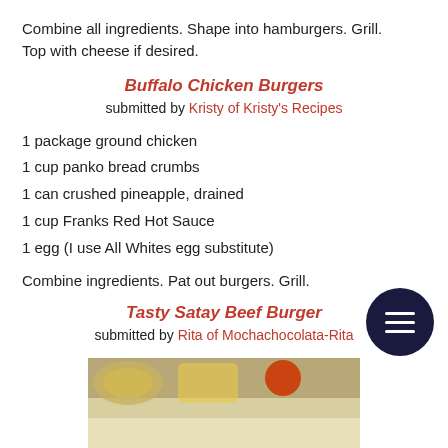Combine all ingredients. Shape into hamburgers. Grill. Top with cheese if desired.
Buffalo Chicken Burgers
submitted by Kristy of Kristy's Recipes
1 package ground chicken
1 cup panko bread crumbs
1 can crushed pineapple, drained
1 cup Franks Red Hot Sauce
1 egg (I use All Whites egg substitute)
Combine ingredients. Pat out burgers. Grill.
Tasty Satay Beef Burger
submitted by Rita of Mochachocolata-Rita
from Hong Kong
[Figure (photo): Partial photo of food ingredients/burger components at the bottom of the page]